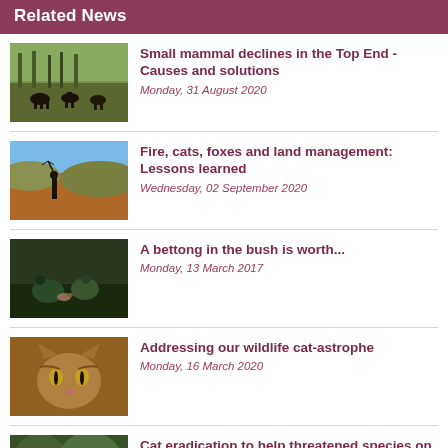Related News
Small mammal declines in the Top End - Causes and solutions
Monday, 31 August 2020
Fire, cats, foxes and land management: Lessons learned
Wednesday, 02 September 2020
A bettong in the bush is worth...
Monday, 13 March 2017
Addressing our wildlife cat-astrophe
Monday, 16 March 2020
Cat eradication to help threatened species on Christmas Island